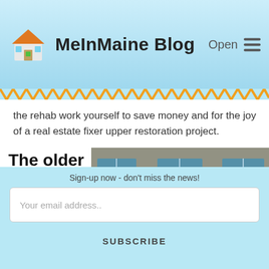MeInMaine Blog
the rehab work yourself to save money and for the joy of a real estate fixer upper restoration project.
The older homes that were once the
[Figure (photo): Black shaggy highland cow standing in snow in front of a gray shingled building with blue-framed windows]
Sign-up now - don't miss the news!
Your email address..
SUBSCRIBE